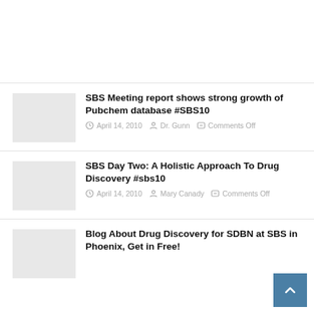SBS Meeting report shows strong growth of Pubchem database #SBS10
April 14, 2010   Dr. Gunn   Comments Off
SBS Day Two: A Holistic Approach To Drug Discovery #sbs10
April 14, 2010   Mary Canady   Comments Off
Blog About Drug Discovery for SDBN at SBS in Phoenix, Get in Free!